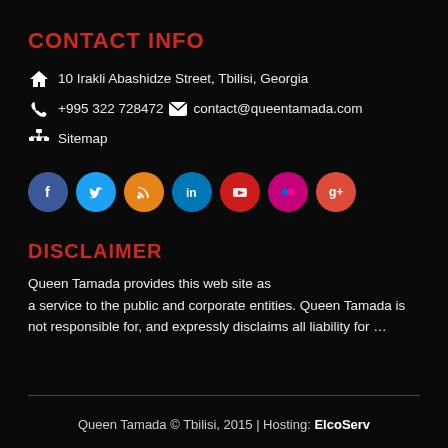CONTACT INFO
10 Irakli Abashidze Street, Tbilisi, Georgia
+995 322 728472   contact@queentamada.com
Sitemap
[Figure (infographic): Social media icon buttons: Facebook (blue), Twitter (light blue), RSS (orange), LinkedIn (blue), YouTube (red), Flickr (pink/magenta), Google+ (red-orange)]
DISCLAIMER
Queen Tamada provides this web site as a service to the public and corporate entities. Queen Tamada is not responsible for, and expressly disclaims all liability for …
Queen Tamada © Tbilisi, 2015 | Hosting: ElcoServ